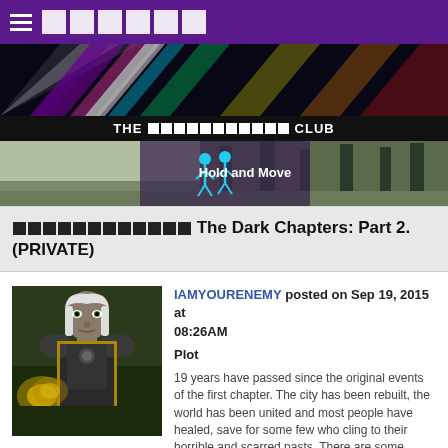☰ □□□□□□
[Figure (illustration): Rainbow light beams banner on dark background]
THE □□□□□□□□□□□ CLUB
[Figure (illustration): Hold and Move banner with forest background and two figures icon]
□□□□□□□□□□□□ The Dark Chapters: Part 2. (PRIVATE)
IAMYOURENEMY posted on Sep 19, 2015 at 08:26AM
Plot

19 years have passed since the original events of the first chapter. The city has been rebuilt, the world has been united and most people have healed, save for some few who cling to their horrible and scarred pasts. There are some though, willing to disrupt this society's peace and order for selfish goals...Will you fight with the revolutionaries for a society ruled with the iron fist of their queen, or will you fight to uphold the order and peace that has been preserved for nearly 20 years?